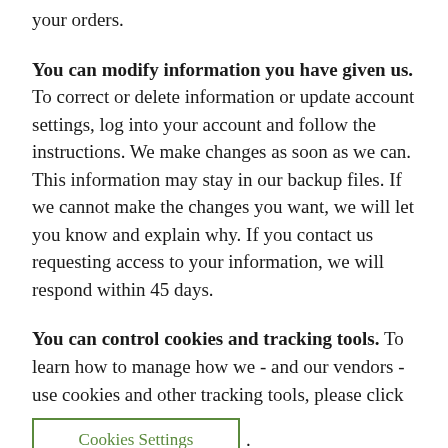your orders.
You can modify information you have given us. To correct or delete information or update account settings, log into your account and follow the instructions. We make changes as soon as we can. This information may stay in our backup files. If we cannot make the changes you want, we will let you know and explain why. If you contact us requesting access to your information, we will respond within 45 days.
You can control cookies and tracking tools. To learn how to manage how we - and our vendors - use cookies and other tracking tools, please click Cookies Settings.
You can control tools on your mobile devices. For